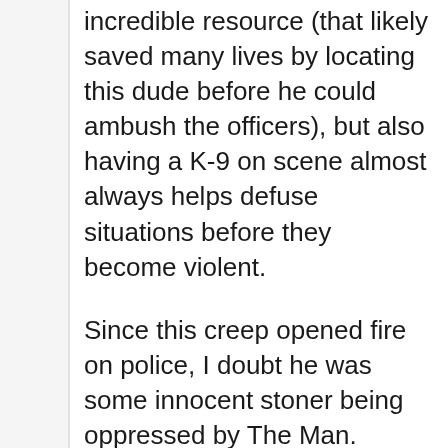incredible resource (that likely saved many lives by locating this dude before he could ambush the officers), but also having a K-9 on scene almost always helps defuse situations before they become violent.
Since this creep opened fire on police, I doubt he was some innocent stoner being oppressed by The Man. People that will shoot at a K-9 and police officers are /not/ people we need out on the streets, they're generally dangerous individuals that would just as readily harm an innocent person.